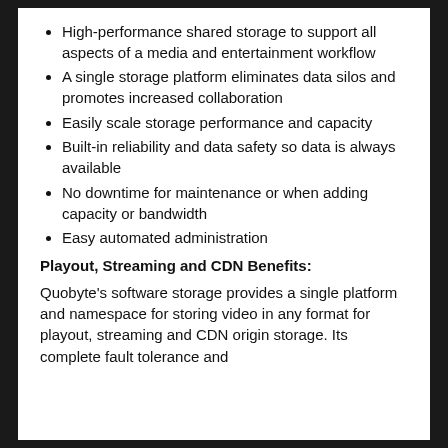High-performance shared storage to support all aspects of a media and entertainment workflow
A single storage platform eliminates data silos and promotes increased collaboration
Easily scale storage performance and capacity
Built-in reliability and data safety so data is always available
No downtime for maintenance or when adding capacity or bandwidth
Easy automated administration
Playout, Streaming and CDN Benefits:
Quobyte's software storage provides a single platform and namespace for storing video in any format for playout, streaming and CDN origin storage. Its complete fault tolerance and